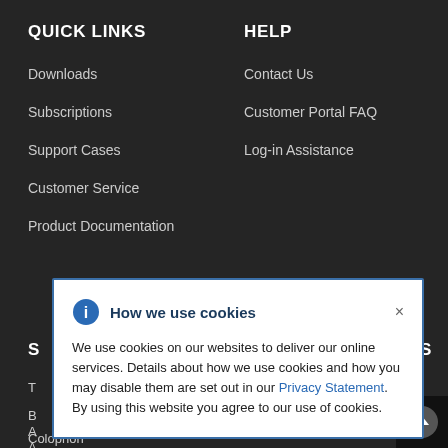QUICK LINKS
Downloads
Subscriptions
Support Cases
Customer Service
Product Documentation
HELP
Contact Us
Customer Portal FAQ
Log-in Assistance
How we use cookies
We use cookies on our websites to deliver our online services. Details about how we use cookies and how you may disable them are set out in our Privacy Statement. By using this website you agree to our use of cookies.
Colophon